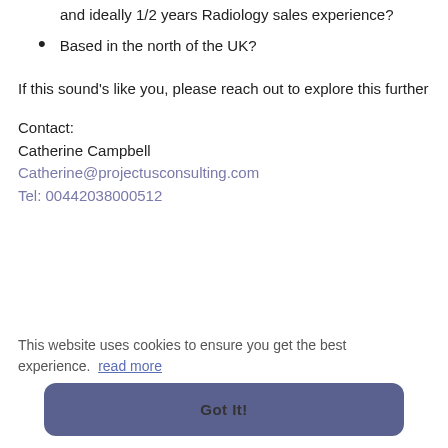and ideally 1/2 years Radiology sales experience?
Based in the north of the UK?
If this sound's like you, please reach out to explore this further
Contact:
Catherine Campbell
Catherine@projectusconsulting.com
Tel: 00442038000512
This website uses cookies to ensure you get the best experience. read more
Got It!